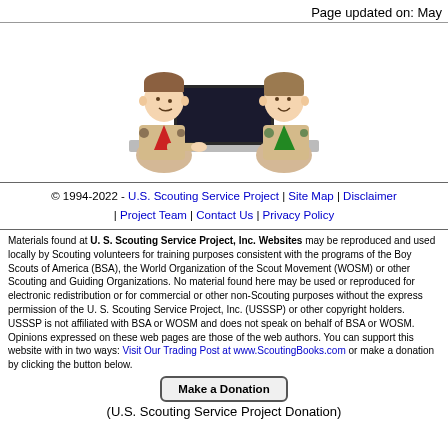Page updated on: May
[Figure (illustration): Cartoon illustration of two Boy Scouts in uniform sitting at a computer desk, one on each side of a monitor. They are wearing tan scout uniforms with neckerchiefs (red and green). The desk is gray.]
© 1994-2022 - U.S. Scouting Service Project | Site Map | Disclaimer | Project Team | Contact Us | Privacy Policy
Materials found at U. S. Scouting Service Project, Inc. Websites may be reproduced and used locally by Scouting volunteers for training purposes consistent with the programs of the Boy Scouts of America (BSA), the World Organization of the Scout Movement (WOSM) or other Scouting and Guiding Organizations. No material found here may be used or reproduced for electronic redistribution or for commercial or other non-Scouting purposes without the express permission of the U. S. Scouting Service Project, Inc. (USSSP) or other copyright holders. USSSP is not affiliated with BSA or WOSM and does not speak on behalf of BSA or WOSM. Opinions expressed on these web pages are those of the web authors. You can support this website with in two ways: Visit Our Trading Post at www.ScoutingBooks.com or make a donation by clicking the button below.
[Figure (other): Make a Donation button]
(U.S. Scouting Service Project Donation)